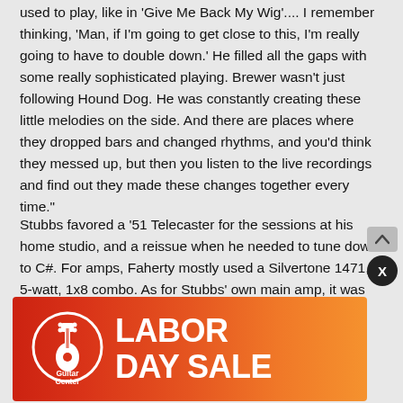used to play, like in 'Give Me Back My Wig'.... I remember thinking, 'Man, if I'm going to get close to this, I'm really going to have to double down.' He filled all the gaps with some really sophisticated playing. Brewer wasn't just following Hound Dog. He was constantly creating these little melodies on the side. And there are places where they dropped bars and changed rhythms, and you'd think they messed up, but then you listen to the live recordings and find out they made these changes together every time."
Stubbs favored a '51 Telecaster for the sessions at his home studio, and a reissue when he needed to tune down to C#. For amps, Faherty mostly used a Silvertone 1471, 5-watt, 1x8 combo. As for Stubbs' own main amp, it was their band's namesake: a 16-watt Gibson GA-20 combo.
[Figure (infographic): Guitar Center Labor Day Sale advertisement banner with red-to-orange gradient background, Guitar Center logo on left, and 'LABOR DAY SALE' text in large white bold letters on right.]
More from Premier Guitar: